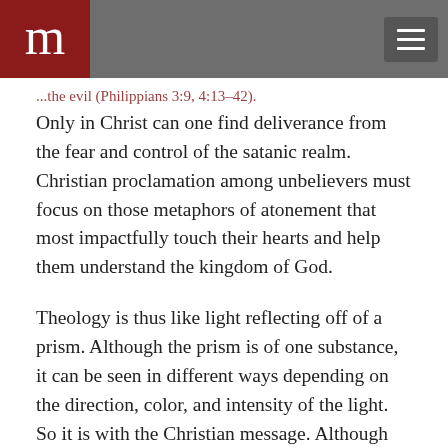m [logo] [hamburger menu]
...the evil (Philippians 3:9, 4:13–42).
Only in Christ can one find deliverance from the fear and control of the satanic realm. Christian proclamation among unbelievers must focus on those metaphors of atonement that most impactfully touch their hearts and help them understand the kingdom of God.
Theology is thus like light reflecting off of a prism. Although the prism is of one substance, it can be seen in different ways depending on the direction, color, and intensity of the light. So it is with the Christian message. Although there is one Gospel, it can be perceived through different metaphors and types of presentation.